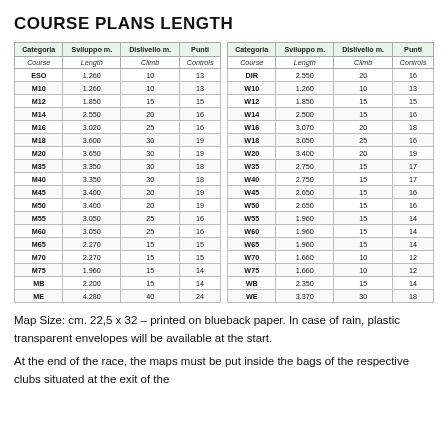COURSE PLANS LENGTH
| Categoria | Sviluppo m. | Dislivello m. | Punti | Categoria | Sviluppo m. | Dislivello m. | Punti |
| --- | --- | --- | --- | --- | --- | --- | --- |
| Course | Length | Climb | Controls | Course | Length | Climb | Controls |
| ESO | 1.260 | 10 | 13 | DIR | 2.550 | 20 | 16 |
| M10 | 1.260 | 10 | 13 | W10 | 1.260 | 10 | 13 |
| M12 | 1.850 | 15 | 15 | W12 | 1.850 | 15 | 15 |
| M14 | 2.550 | 20 | 16 | W14 | 2.500 | 15 | 16 |
| M16 | 3.020 | 25 | 16 | W16 | 3.070 | 20 | 18 |
| M18 | 3.600 | 30 | 19 | W18 | 3.050 | 25 | 16 |
| M20 | 3.650 | 30 | 19 | W20 | 3.400 | 20 | 19 |
| M35 | 3.350 | 30 | 18 | W35 | 2.750 | 15 | 17 |
| M40 | 3.350 | 30 | 18 | W40 | 2.750 | 15 | 17 |
| M45 | 3.400 | 20 | 19 | W45 | 2.650 | 15 | 16 |
| M50 | 3.400 | 20 | 19 | W50 | 2.650 | 15 | 16 |
| M55 | 3.050 | 25 | 16 | W55 | 1.960 | 15 | 14 |
| M60 | 3.050 | 25 | 16 | W60 | 1.960 | 15 | 14 |
| M65 | 2.270 | 15 | 15 | W65 | 1.960 | 15 | 14 |
| M70 | 2.270 | 15 | 15 | W70 | 1.660 | 10 | 12 |
| M75 | 1.960 | 15 | 14 | W75 | 1.660 | 10 | 12 |
| MB | 2.200 | 15 | 14 | WB | 2.350 | 15 | 14 |
| ME | 4.280 | 40 | 24 | WE | 3.370 | 30 | 18 |
Map Size: cm. 22,5 x 32 – printed on blueback paper. In case of rain, plastic transparent envelopes will be available at the start.
At the end of the race, the maps must be put inside the bags of the respective clubs situated at the exit of the